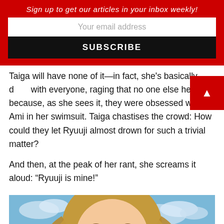Sign up to get our articles in your inbox weekly!
Your email address
SUBSCRIBE
Taiga will have none of it—in fact, she's basically d with everyone, raging that no one else helped because, as she sees it, they were obsessed with Ami in her swimsuit. Taiga chastises the crowd: How could they let Ryuuji almost drown for such a trivial matter?
And then, at the peak of her rant, she screams it aloud: “Ryuuji is mine!”
[Figure (photo): Anime screenshot of a girl (Taiga) with brown hair, eyes closed, mouth open wide screaming, with a blue sky and clouds in the background.]